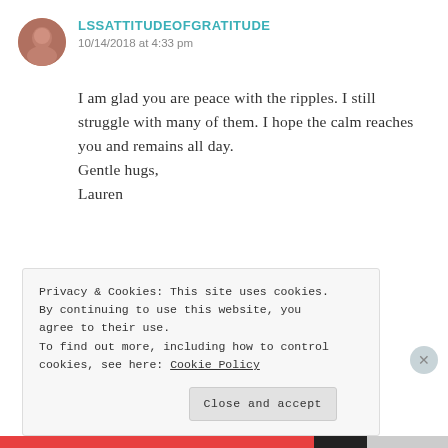LSSATTITUDEOFGRATITUDE
10/14/2018 at 4:33 pm
I am glad you are peace with the ripples. I still struggle with many of them. I hope the calm reaches you and remains all day.
Gentle hugs,
Lauren
★ Like
Privacy & Cookies: This site uses cookies. By continuing to use this website, you agree to their use.
To find out more, including how to control cookies, see here: Cookie Policy
Close and accept